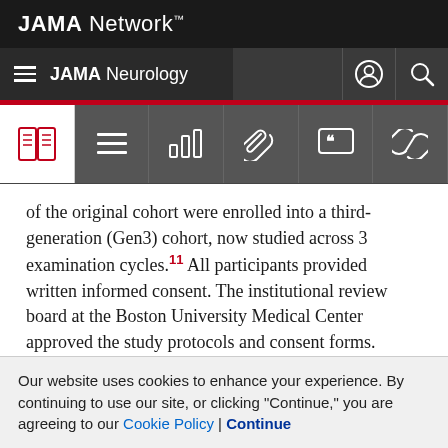JAMA Network™
JAMA Neurology
[Figure (screenshot): Icon toolbar with book, menu, chart, paperclip, quote, and link icons]
of the original cohort were enrolled into a third-generation (Gen3) cohort, now studied across 3 examination cycles.¹¹ All participants provided written informed consent. The institutional review board at the Boston University Medical Center approved the study protocols and consent forms.
Quantification of Plasma T-Tau Level
Blood samples were obtained following an overnight fast...
Our website uses cookies to enhance your experience. By continuing to use our site, or clicking "Continue," you are agreeing to our Cookie Policy | Continue